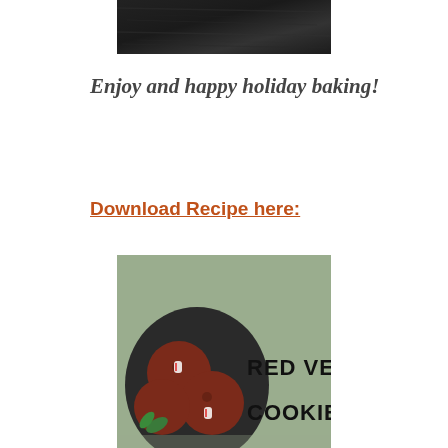[Figure (photo): Dark textured background photo, partial crop at top of page]
Enjoy and happy holiday baking!
Download Recipe here:
[Figure (photo): Red velvet cookies image on sage green background with text 'RED VELVET COOKIES']